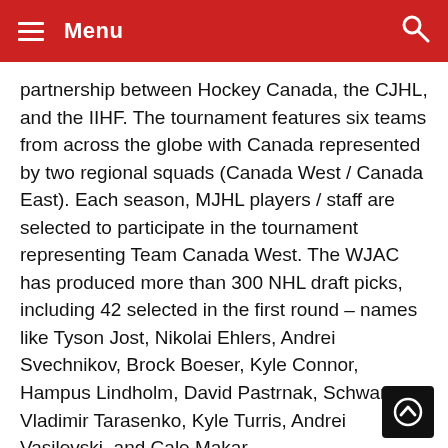Menu
partnership between Hockey Canada, the CJHL, and the IIHF.  The tournament features six teams from across the globe with Canada represented by two regional squads (Canada West / Canada East).  Each season, MJHL players / staff are selected to participate in the tournament representing  Team Canada West. The WJAC has produced more than 300 NHL draft picks, including 42 selected in the first round – names like Tyson Jost, Nikolai Ehlers, Andrei Svechnikov, Brock Boeser, Kyle Connor, Hampus Lindholm, David Pastrnak, Schwartz, Vladimir Tarasenko, Kyle Turris, Andrei Vasilevski, and Cale Makar.
The 2022 CJHL Prospects Game will be held in January, 2022.
The showcase event represents a partnership